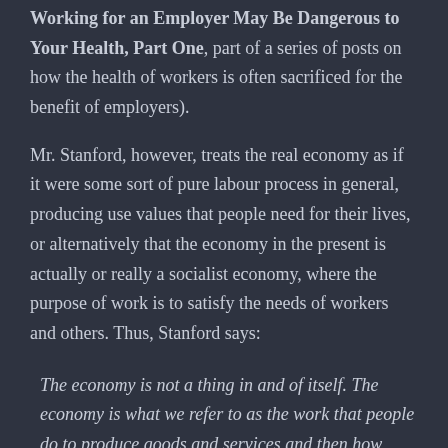Working for an Employer May Be Dangerous to Your Health, Part One, part of a series of posts on how the health of workers is often sacrificed for the benefit of employers).
Mr. Stanford, however, treats the real economy as if it were some sort of pure labour process in general, producing use values that people need for their lives, or alternatively that the economy in the present is actually or really a socialist economy, where the purpose of work is to satisfy the needs of workers and others. Thus, Stanford says:
The economy is not a thing in and of itself. The economy is what we refer to as the work that people do to produce goods and services and then how those